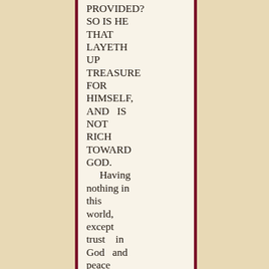PROVIDED? SO IS HE THAT LAYETH UP TREASURE FOR HIMSELF, AND IS NOT RICH TOWARD GOD. Having nothing in this world, except trust in God and peace